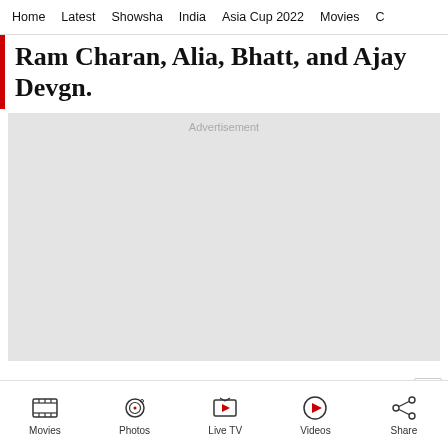Home | Latest | Showsha | India | Asia Cup 2022 | Movies | C...
Ram Charan, Alia, Bhatt, and Ajay Devgn.
[Figure (other): Advertisement placeholder — light grey box with 'Advertisement' label in center top]
Movies | Photos | Live TV | Videos | Share